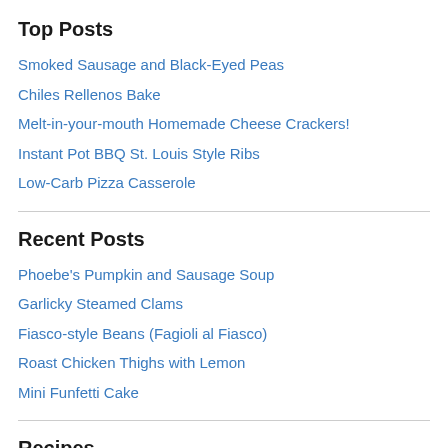Top Posts
Smoked Sausage and Black-Eyed Peas
Chiles Rellenos Bake
Melt-in-your-mouth Homemade Cheese Crackers!
Instant Pot BBQ St. Louis Style Ribs
Low-Carb Pizza Casserole
Recent Posts
Phoebe's Pumpkin and Sausage Soup
Garlicky Steamed Clams
Fiasco-style Beans (Fagioli al Fiasco)
Roast Chicken Thighs with Lemon
Mini Funfetti Cake
Recipes